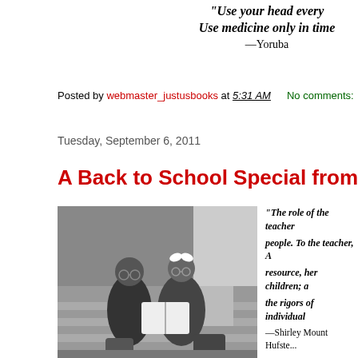"Use your head every...
Use medicine only in time...
—Yoruba
Posted by webmaster_justusbooks at 5:31 AM   No comments:
Tuesday, September 6, 2011
A Back to School Special from Ju...
[Figure (photo): Black and white photograph of two children sitting on steps reading a book together]
“The role of the teacher... people. To the teacher, A... resource, her children; a... the rigors of individual... —Shirley Mount Hufstede...
For picture books, chap... young adults, classroom... nation’s diversity...
http://www.j...